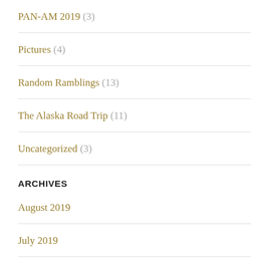PAN-AM 2019 (3)
Pictures (4)
Random Ramblings (13)
The Alaska Road Trip (11)
Uncategorized (3)
ARCHIVES
August 2019
July 2019